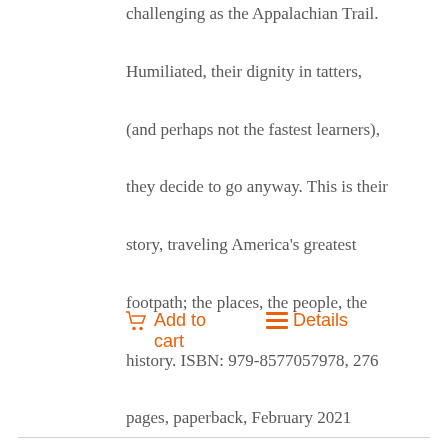challenging as the Appalachian Trail. Humiliated, their dignity in tatters, (and perhaps not the fastest learners), they decide to go anyway. This is their story, traveling America's greatest footpath; the places, the people, the history. ISBN: 979-8577057978, 276 pages, paperback, February 2021
Add to cart
Details